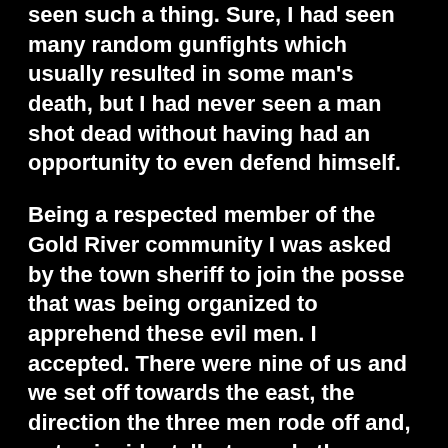seen such a thing. Sure, I had seen many random gunfights which usually resulted in some man's death, but I had never seen a man shot dead without having had an opportunity to even defend himself.
Being a respected member of the Gold River community I was asked by the town sheriff to join the posse that was being organized to apprehend these evil men. I accepted. There were nine of us and we set off towards the east, the direction the three men rode off and, not coincidentally, towards the James Hill Camp.
The sheriff of Gold River, who is...